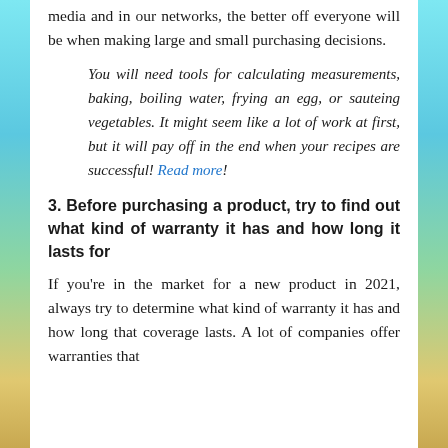media and in our networks, the better off everyone will be when making large and small purchasing decisions.
You will need tools for calculating measurements, baking, boiling water, frying an egg, or sauteing vegetables. It might seem like a lot of work at first, but it will pay off in the end when your recipes are successful! Read more!
3. Before purchasing a product, try to find out what kind of warranty it has and how long it lasts for
If you're in the market for a new product in 2021, always try to determine what kind of warranty it has and how long that coverage lasts. A lot of companies offer warranties that